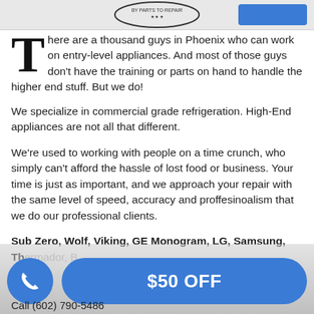[Figure (logo): Top banner with oval logo/stamp graphic and a blue button element, partially visible at top of page]
There are a thousand guys in Phoenix who can work on entry-level appliances. And most of those guys don't have the training or parts on hand to handle the higher end stuff. But we do!
We specialize in commercial grade refrigeration. High-End appliances are not all that different.
We're used to working with people on a time crunch, who simply can't afford the hassle of lost food or business. Your time is just as important, and we approach your repair with the same level of speed, accuracy and proffesinoalism that we do our professional clients.
Sub Zero, Wolf, Viking, GE Monogram, LG, Samsung, Thermador, Bosch, Miele, Fisher & Paykel, and Viking
Call (602) 790-5486